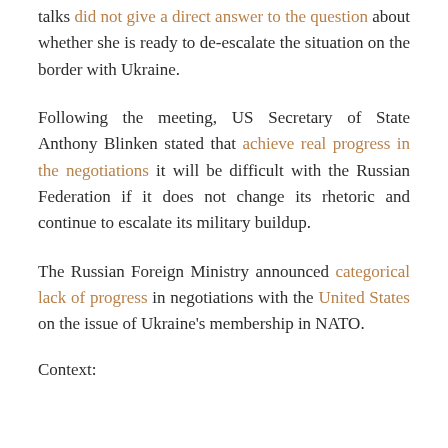talks did not give a direct answer to the question about whether she is ready to de-escalate the situation on the border with Ukraine.
Following the meeting, US Secretary of State Anthony Blinken stated that achieve real progress in the negotiations it will be difficult with the Russian Federation if it does not change its rhetoric and continue to escalate its military buildup.
The Russian Foreign Ministry announced categorical lack of progress in negotiations with the United States on the issue of Ukraine's membership in NATO.
Context: